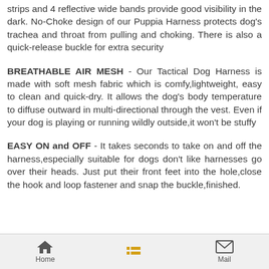strips and 4 reflective wide bands provide good visibility in the dark. No-Choke design of our Puppia Harness protects dog's trachea and throat from pulling and choking. There is also a quick-release buckle for extra security
BREATHABLE AIR MESH - Our Tactical Dog Harness is made with soft mesh fabric which is comfy,lightweight, easy to clean and quick-dry. It allows the dog's body temperature to diffuse outward in multi-directional through the vest. Even if your dog is playing or running wildly outside,it won't be stuffy
EASY ON and OFF - It takes seconds to take on and off the harness,especially suitable for dogs don't like harnesses go over their heads. Just put their front feet into the hole,close the hook and loop fastener and snap the buckle,finished.
Home  Mail